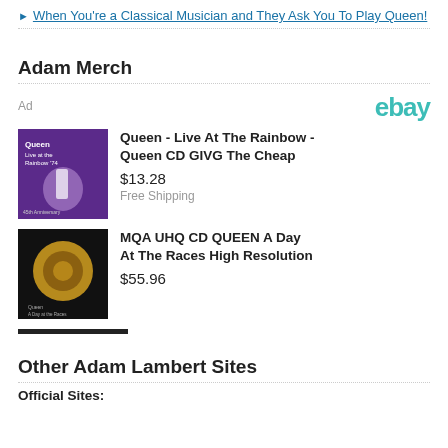When You're a Classical Musician and They Ask You To Play Queen!
Adam Merch
[Figure (infographic): eBay advertisement block with two Queen CD products: 'Queen - Live At The Rainbow - Queen CD GIVG The Cheap' priced at $13.28 with Free Shipping, and 'MQA UHQ CD QUEEN A Day At The Races High Resolution' priced at $55.96]
Other Adam Lambert Sites
Official Sites: